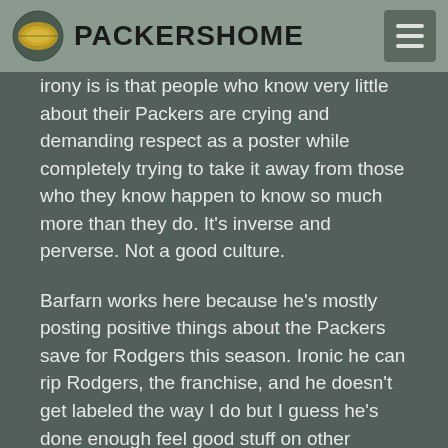PACKERSHOME
irony is is that people who know very little about their Packers are crying and demanding respect as a poster while completely trying to take it away from those who they know happen to know so much more than they do. It's inverse and perverse. Not a good culture.
Barfarn works here because he's mostly posting positive things about the Packers save for Rodgers this season. Ironic he can rip Rodgers, the franchise, and he doesn't get labeled the way I do but I guess he's done enough feel good stuff on other players that he's built up some immunity.
Finally, it is okay to be wrong. This isn't personal...nobody is anybody here in the sense of being a big shot nor should desire it or act as if they are. Just be who you are.